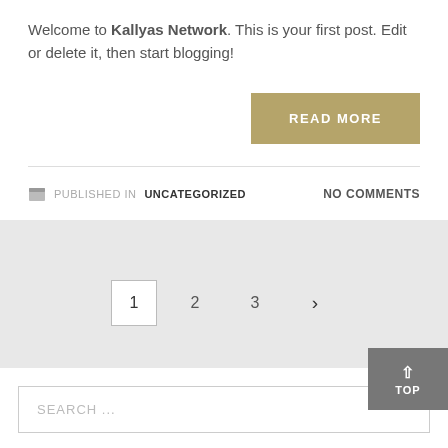Welcome to Kallyas Network. This is your first post. Edit or delete it, then start blogging!
READ MORE
PUBLISHED IN UNCATEGORIZED   NO COMMENTS
1  2  3  ›
SEARCH ...